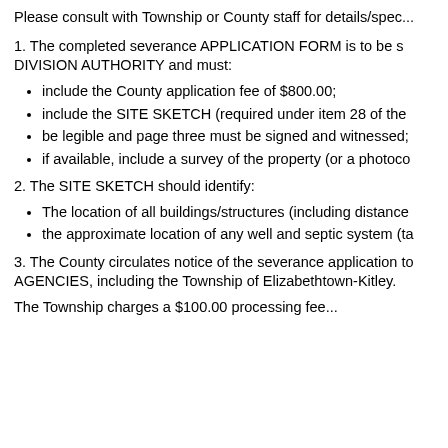Please consult with Township or County staff for details/spec...
1. The completed severance APPLICATION FORM is to be submitted to the LAND DIVISION AUTHORITY and must:
include the County application fee of $800.00;
include the SITE SKETCH (required under item 28 of the...
be legible and page three must be signed and witnessed;
if available, include a survey of the property (or a photoco...
2. The SITE SKETCH should identify:
The location of all buildings/structures (including distance...
the approximate location of any well and septic system (ta...
3. The County circulates notice of the severance application to COMMENTING AGENCIES, including the Township of Elizabethtown-Kitley.
The Township charges a $100.00 processing fee...